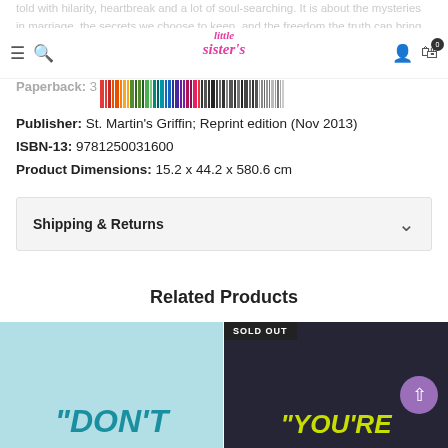told with hilarity, heartbreak and a lot of soul-searching. It is about the mysteries in marriage, the secrets we choose to keep, and the freedom the truth can bring.
Little Sister's [logo/nav bar]
Paperback: 3[barcode overlay]
Publisher: St. Martin's Griffin; Reprint edition (Nov 2013)
ISBN-13: 9781250031600
Product Dimensions: 15.2 x 44.2 x 580.6 cm
Shipping & Returns
Related Products
[Figure (photo): Book cover thumbnail showing 'DON'T' text on teal background]
[Figure (photo): Book cover thumbnail showing 'YOU'RE' text on dark background, with SOLD OUT badge]